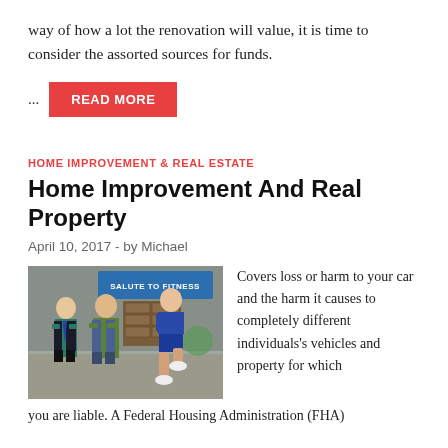way of how a lot the renovation will value, it is time to consider the assorted sources for funds.
... READ MORE
HOME IMPROVEMENT & REAL ESTATE
Home Improvement And Real Property
April 10, 2017  -  by Michael
[Figure (photo): Three people standing in what appears to be a workshop or garage set. A banner in the background reads 'SALUTE TO FITNESS'. Two men and a woman in fitness attire.]
Covers loss or harm to your car and the harm it causes to completely different individuals's vehicles and property for which you are liable. A Federal Housing Administration (FHA)